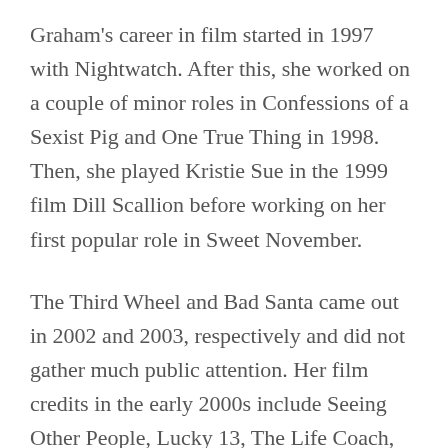Graham's career in film started in 1997 with Nightwatch. After this, she worked on a couple of minor roles in Confessions of a Sexist Pig and One True Thing in 1998. Then, she played Kristie Sue in the 1999 film Dill Scallion before working on her first popular role in Sweet November.
The Third Wheel and Bad Santa came out in 2002 and 2003, respectively and did not gather much public attention. Her film credits in the early 2000s include Seeing Other People, Lucky 13, The Life Coach, The Amateurs, etc.